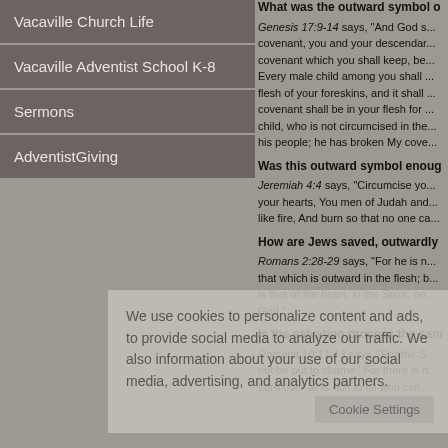Vacaville Church Life
Vacaville Adventist School K-8
Sermons
AdventistGiving
What was the outward symbol o...
Genesis 17:9-14 says, "And God s... covenant, you and your descendar... covenant which you shall keep, be... Every male child among you shall ... flesh of your foreskins, and it shall ... covenant shall be in your flesh for ... child, who is not circumcised in the... his people; he has broken My cove...
Was this outward symbol enoug...
Jeremiah 4:4 says, "Circumcise yo... your hearts, You men of Judah and... like fire, And burn so that no one ca...
How are Jews saved, outwardly ...
Romans 2:28-29 says, "For he is n... that which is outward in the flesh; b... is that of the heart, in the Spirit, no... God."
Is the salvation process the sam...
Romans 10:11-13 says, "For the S... not be put to shame.' For there is n... Lord over all is rich to all who call...
We use cookies to personalize content and ads, to provide social media features and to analyze our traffic. We also share information about your use of our site with our social media, advertising, and analytics partners.